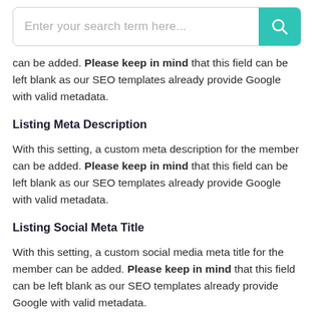[Figure (screenshot): Search bar with placeholder text 'Enter your search term here...' and a teal search button with magnifying glass icon]
can be added. Please keep in mind that this field can be left blank as our SEO templates already provide Google with valid metadata.
Listing Meta Description
With this setting, a custom meta description for the member can be added. Please keep in mind that this field can be left blank as our SEO templates already provide Google with valid metadata.
Listing Social Meta Title
With this setting, a custom social media meta title for the member can be added. Please keep in mind that this field can be left blank as our SEO templates already provide Google with valid metadata.
Listing Social Meta Description